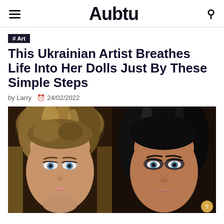Aubtu
# Art
This Ukrainian Artist Breathes Life Into Her Dolls Just By These Simple Steps
by Larry  24/02/2022
[Figure (photo): Two close-up photos of realistic-looking dolls side by side. Left: a doll with blonde hair and blue eyes with glamour makeup. Right: a doll with dark hair, darker skin tone, and dramatic blue smoky eye makeup.]